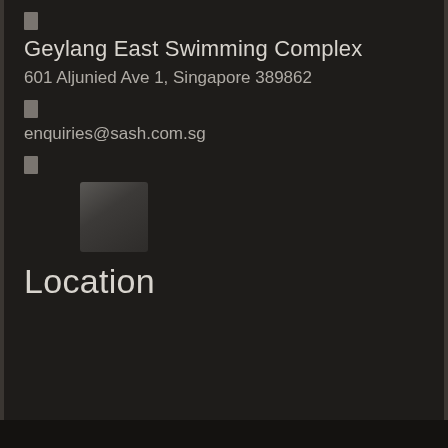[Figure (other): Small icon placeholder (location/map pin icon)]
Geylang East Swimming Complex
601 Aljunied Ave 1, Singapore 389862
[Figure (other): Small icon placeholder (email icon)]
enquiries@sash.com.sg
[Figure (other): Small icon placeholder (map/location icon)]
[Figure (map): Small map thumbnail image showing a grey rectangle]
Location